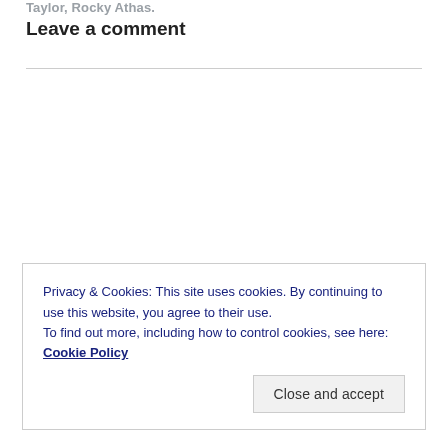Taylor, Rocky Athas.
Leave a comment
Privacy & Cookies: This site uses cookies. By continuing to use this website, you agree to their use.
To find out more, including how to control cookies, see here: Cookie Policy
Close and accept